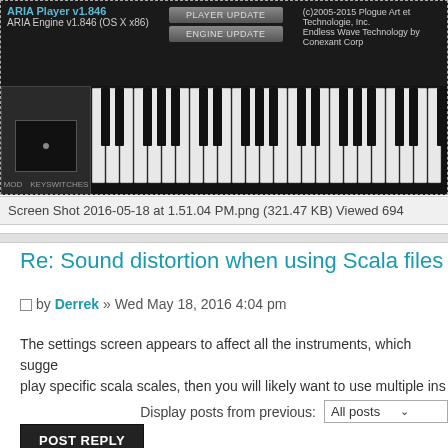[Figure (screenshot): ARIA Player v1.846 software interface showing keyboard with MOD and KEYSWITCHES panels, player update and engine update buttons, and copyright information for Plogue Art et Technologie and Conexant Corp]
Screen Shot 2016-05-18 at 1.51.04 PM.png (321.47 KB) Viewed 694
Re: Sound distortion when using Scala files
by Derrek » Wed May 18, 2016 4:04 pm
The settings screen appears to affect all the instruments, which suggests play specific scala scales, then you will likely want to use multiple inst